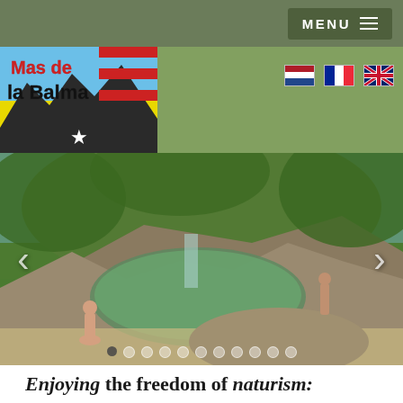MENU
[Figure (logo): Mas de la Balma logo on yellow background with mountain silhouette and star]
[Figure (photo): Natural swimming pool in rocky gorge surrounded by lush green vegetation, with people swimming/wading]
Enjoying the freedom of naturism: walking and swimming